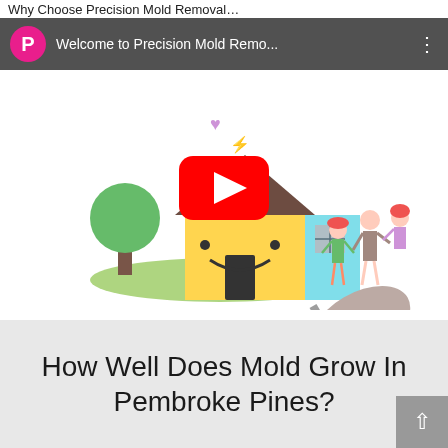Why Choose Precision Mold Removal…
[Figure (screenshot): YouTube video embed showing 'Welcome to Precision Mold Remo...' with a pink P avatar icon and three dots menu. Thumbnail shows a cartoon illustration of a smiling house with a family and a hand drawing with a pencil. A red YouTube play button is centered on the thumbnail.]
How Well Does Mold Grow In Pembroke Pines?